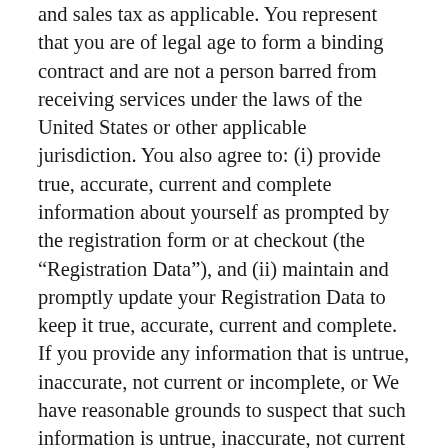and sales tax as applicable. You represent that you are of legal age to form a binding contract and are not a person barred from receiving services under the laws of the United States or other applicable jurisdiction. You also agree to: (i) provide true, accurate, current and complete information about yourself as prompted by the registration form or at checkout (the “Registration Data”), and (ii) maintain and promptly update your Registration Data to keep it true, accurate, current and complete. If you provide any information that is untrue, inaccurate, not current or incomplete, or We have reasonable grounds to suspect that such information is untrue, inaccurate, not current or incomplete, we reserve the right to suspend or terminate your account and refuse you any and all current or future access to and use of HMFT IP or HMFT Misc (or any portion thereof) and/or services, experiences and/or product purchases.